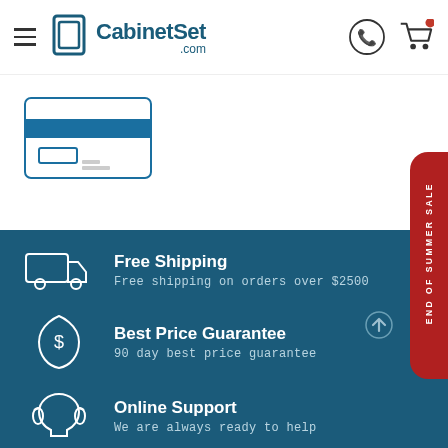[Figure (logo): CabinetSet.com website header with hamburger menu, logo, phone icon, and shopping cart icon]
[Figure (illustration): Credit card illustration with blue border, stripe, and chip]
Free Shipping
Free shipping on orders over $2500
Best Price Guarantee
90 day best price guarantee
Online Support
We are always ready to help